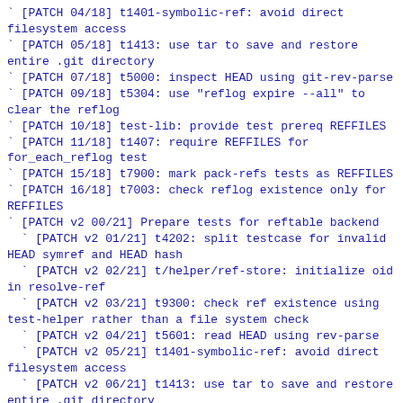` [PATCH 04/18] t1401-symbolic-ref: avoid direct filesystem access
` [PATCH 05/18] t1413: use tar to save and restore entire .git directory
` [PATCH 07/18] t5000: inspect HEAD using git-rev-parse
` [PATCH 09/18] t5304: use "reflog expire --all" to clear the reflog
` [PATCH 10/18] test-lib: provide test prereq REFFILES
` [PATCH 11/18] t1407: require REFFILES for for_each_reflog test
` [PATCH 15/18] t7900: mark pack-refs tests as REFFILES
` [PATCH 16/18] t7003: check reflog existence only for REFFILES
` [PATCH v2 00/21] Prepare tests for reftable backend
` [PATCH v2 01/21] t4202: split testcase for invalid HEAD symref and HEAD hash
` [PATCH v2 02/21] t/helper/ref-store: initialize oid in resolve-ref
` [PATCH v2 03/21] t9300: check ref existence using test-helper rather than a file system check
` [PATCH v2 04/21] t5601: read HEAD using rev-parse
` [PATCH v2 05/21] t1401-symbolic-ref: avoid direct filesystem access
` [PATCH v2 06/21] t1413: use tar to save and restore entire .git directory
` [PATCH v2 07/21] t1301: fix typo in error message
` [PATCH v2 08/21] t5000: reformat indentation to the latest fashion
` [PATCH v2 09/21] t5000: inspect HEAD using git-rev-parse